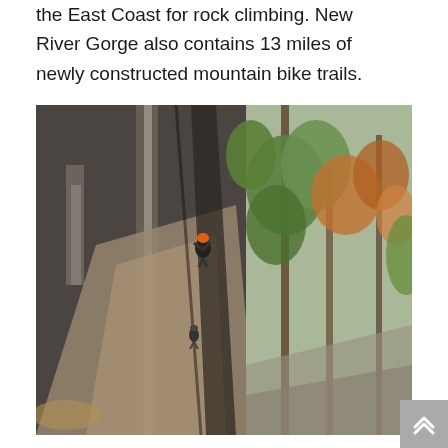the East Coast for rock climbing. New River Gorge also contains 13 miles of newly constructed mountain bike trails.
[Figure (photo): A rock climber scaling a tall, dark sandstone cliff face at New River Gorge. The climber is wearing an orange helmet and dark clothing, positioned roughly one-third of the way up the large rock wall. Autumn trees with green and orange foliage are visible on the right side of the image.]